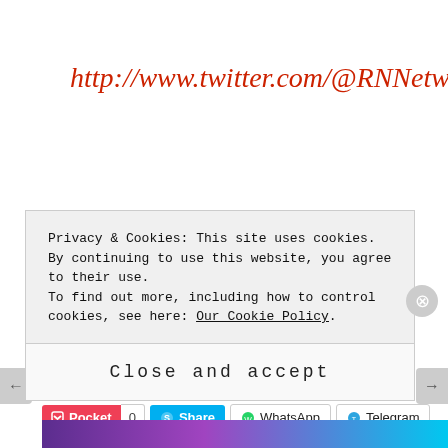http://www.twitter.com/@RNNetwork
Sharing is caring
Tweet  Email
Pocket 0  Share  WhatsApp  Telegram
Privacy & Cookies: This site uses cookies. By continuing to use this website, you agree to their use.
To find out more, including how to control cookies, see here: Our Cookie Policy
Close and accept